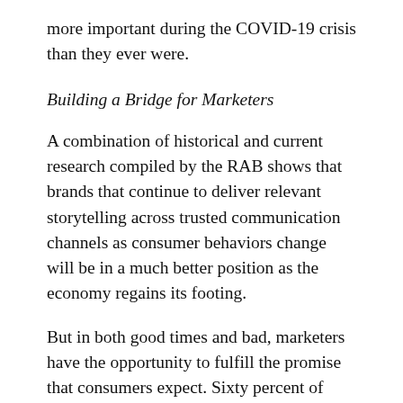more important during the COVID-19 crisis than they ever were.
Building a Bridge for Marketers
A combination of historical and current research compiled by the RAB shows that brands that continue to deliver relevant storytelling across trusted communication channels as consumer behaviors change will be in a much better position as the economy regains its footing.
But in both good times and bad, marketers have the opportunity to fulfill the promise that consumers expect. Sixty percent of small